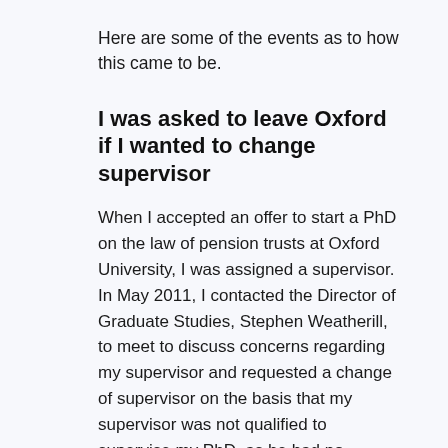Here are some of the events as to how this came to be.
I was asked to leave Oxford if I wanted to change supervisor
When I accepted an offer to start a PhD on the law of pension trusts at Oxford University, I was assigned a supervisor. In May 2011, I contacted the Director of Graduate Studies, Stephen Weatherill, to meet to discuss concerns regarding my supervisor and requested a change of supervisor on the basis that my supervisor was not qualified to supervise my PhD, as he had no expertise in pension law. The Director of Graduate Studies is the Law Faculty officer responsible for supervision concerns. Despite this being accepted by the DOGS, I was denied a new supervisor, and asked to leave. Here are the details of